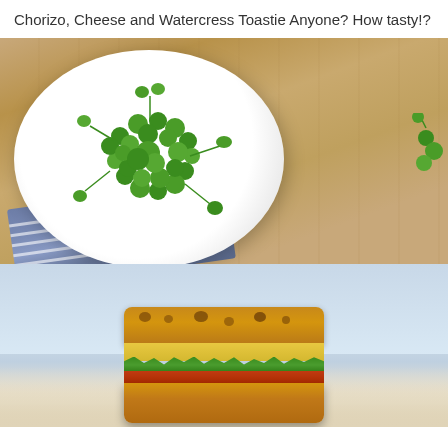Chorizo, Cheese and Watercress Toastie Anyone? How tasty!?
[Figure (photo): Overhead photo of fresh watercress leaves piled on a white round plate, placed on a blue and white striped cloth napkin on a wooden table. A few stray watercress sprigs visible on the right edge.]
[Figure (photo): Close-up photo of a chorizo, cheese and watercress toasted sandwich (toastie), showing golden-brown toasted bread with charred spots, melted cheese, green watercress leaves and red chorizo filling visible at the side, placed on a light cloth against a pale blue-white background.]